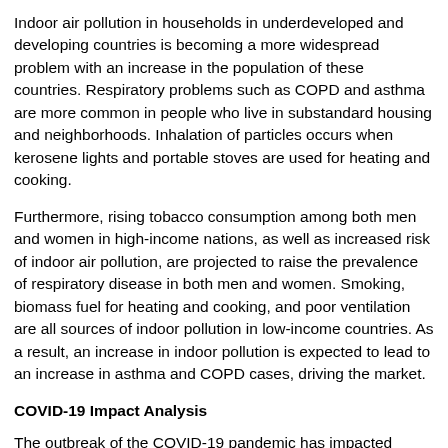Indoor air pollution in households in underdeveloped and developing countries is becoming a more widespread problem with an increase in the population of these countries. Respiratory problems such as COPD and asthma are more common in people who live in substandard housing and neighborhoods. Inhalation of particles occurs when kerosene lights and portable stoves are used for heating and cooking.
Furthermore, rising tobacco consumption among both men and women in high-income nations, as well as increased risk of indoor air pollution, are projected to raise the prevalence of respiratory disease in both men and women. Smoking, biomass fuel for heating and cooking, and poor ventilation are all sources of indoor pollution in low-income countries. As a result, an increase in indoor pollution is expected to lead to an increase in asthma and COPD cases, driving the market.
COVID-19 Impact Analysis
The outbreak of the COVID-19 pandemic has impacted various sectors of the business domain. The imposition of various restrictions like lockdown, ban on cross border travelling, social distancing norm, temporary ban on manufacturing units and ban on imports & exports,